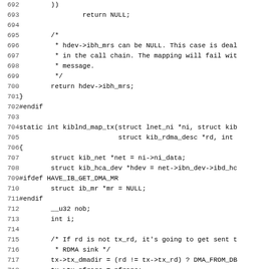Source code listing, lines 692-723, showing C code for kiblnd_map_tx function